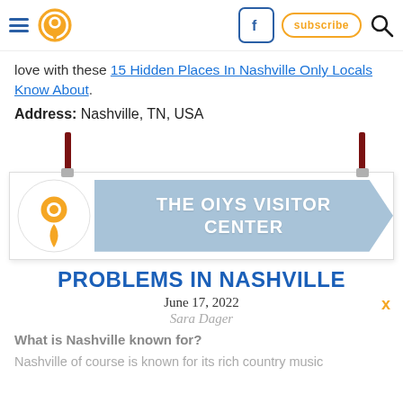[Navigation header with hamburger menu, pin logo, Facebook button, subscribe button, search icon]
love with these 15 Hidden Places In Nashville Only Locals Know About.
Address: Nashville, TN, USA
[Figure (illustration): OIYS Visitor Center banner sign with location pin icon and light blue arrow shape]
PROBLEMS IN NASHVILLE
June 17, 2022
Sara Dager
What is Nashville known for?
Nashville of course is known for its rich country music